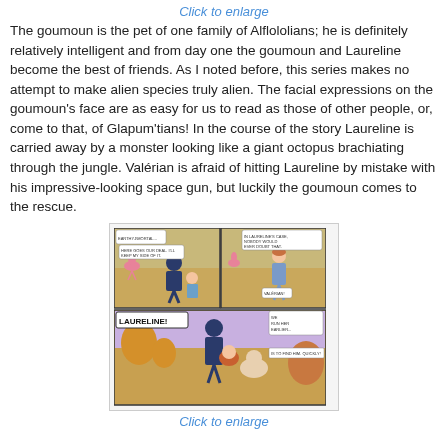Click to enlarge
The goumoun is the pet of one family of Alflololians; he is definitely relatively intelligent and from day one the goumoun and Laureline become the best of friends. As I noted before, this series makes no attempt to make alien species truly alien. The facial expressions on the goumoun's face are as easy for us to read as those of other people, or, come to that, of Glapum'tians! In the course of the story Laureline is carried away by a monster looking like a giant octopus brachiating through the jungle. Valérian is afraid of hitting Laureline by mistake with his impressive-looking space gun, but luckily the goumoun comes to the rescue.
[Figure (illustration): Comic strip panels showing Valérian and Laureline scenes. Top two panels show characters on an alien landscape with pink bird-like creatures. Bottom panel shows characters with 'LAURELINE!' speech bubble in bold text.]
Click to enlarge